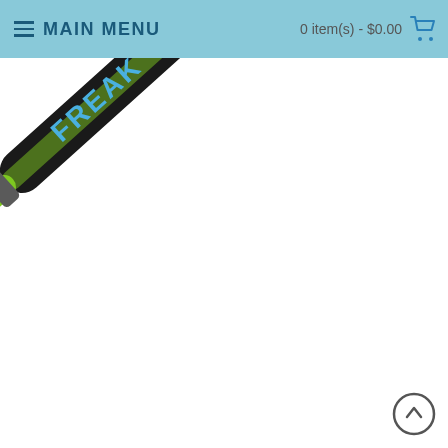MAIN MENU | 0 item(s) - $0.00
[Figure (photo): A Miken Freak softball bat with black barrel and green handle/grip, displayed diagonally against a white background. The bat label reads 'FREAK'. There is a 'Click Image for Gallery' magnifier icon below the image.]
Click Image for Gallery
Stock Status
Limited stock available.
Free Shipping
Free shipping on all orders over $100 & we cover all sales tax.
Brand: Miken
Product Code: PLSKBA